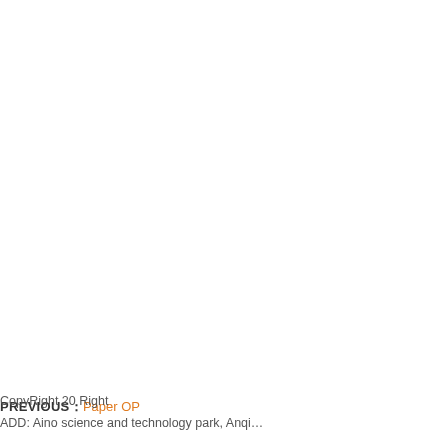PREVIOUS：Paper OP…
[Figure (screenshot): Sidebar UI panel with up-arrow button, user profile icon (blue), chat/message icon (orange/red with dots), QR code icon (green), and down-arrow button. Panel has white background with light gray borders.]
CopyRight 20… Right
ADD: Aino science and technology park, Anqi…